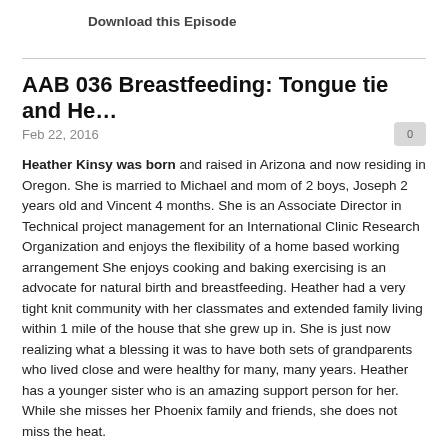Download this Episode
AAB 036 Breastfeeding: Tongue tie and He…
Feb 22, 2016
Heather Kinsy was born and raised in Arizona and now residing in Oregon. She is married to Michael and mom of 2 boys, Joseph 2 years old and Vincent 4 months. She is an Associate Director in Technical project management for an International Clinic Research Organization and enjoys the flexibility of a home based working arrangement She enjoys cooking and baking exercising is an advocate for natural birth and breastfeeding. Heather had a very tight knit community with her classmates and extended family living within 1 mile of the house that she grew up in. She is just now realizing what a blessing it was to have both sets of grandparents who lived close and were healthy for many, many years. Heather has a younger sister who is an amazing support person for her. While she misses her Phoenix family and friends, she does not miss the heat.
Heather shares with us her story of the births of both of her sons. She had natural childbirths with both her babies and was very pleased with her experiences. Heather had a difficult time with breastfeeding her first son Joseph and hoped for a better experience with her second son Vincent. Joseph was tongue tied and she suffered with poor latch, a high level of pain